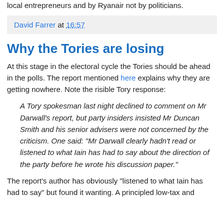local entrepreneurs and by Ryanair not by politicians.
David Farrer at 16:57
Why the Tories are losing
At this stage in the electoral cycle the Tories should be ahead in the polls. The report mentioned here explains why they are getting nowhere. Note the risible Tory response:
A Tory spokesman last night declined to comment on Mr Darwall's report, but party insiders insisted Mr Duncan Smith and his senior advisers were not concerned by the criticism. One said: "Mr Darwall clearly hadn't read or listened to what Iain has had to say about the direction of the party before he wrote his discussion paper."
The report's author has obviously "listened to what Iain has had to say" but found it wanting. A principled low-tax and